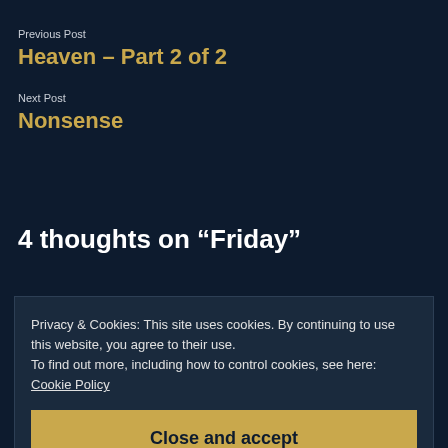Previous Post
Heaven – Part 2 of 2
Next Post
Nonsense
4 thoughts on “Friday”
Privacy & Cookies: This site uses cookies. By continuing to use this website, you agree to their use.
To find out more, including how to control cookies, see here: Cookie Policy
Close and accept
surly must have felt that way to. Jesus’s followers. I’m so glad